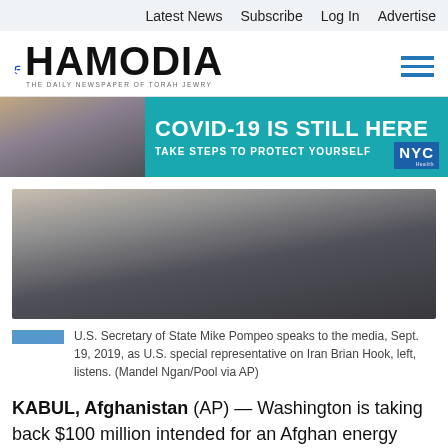Latest News  Subscribe  Log In  Advertise
[Figure (logo): Hamodia newspaper logo — Hebrew letter, bold HAMODIA text, tagline THE DAILY NEWSPAPER OF TORAH JEWRY, and hamburger menu icon]
[Figure (photo): COVID-19 IS STILL HERE — TAKE STEPS TO PROTECT YOURSELF — NYC public health advertisement banner with photo of masked person on phone]
[Figure (photo): U.S. Secretary of State Mike Pompeo speaks to the media with another figure in foreground]
U.S. Secretary of State Mike Pompeo speaks to the media, Sept. 19, 2019, as U.S. special representative on Iran Brian Hook, left, listens. (Mandel Ngan/Pool via AP)
KABUL, Afghanistan (AP) — Washington is taking back $100 million intended for an Afghan energy infrastructure project, citing unacceptably high levels of corruption in the Afghan government, U.S. Secretary of State Mike Pompeo announced Thursday in a harshly worded statement.